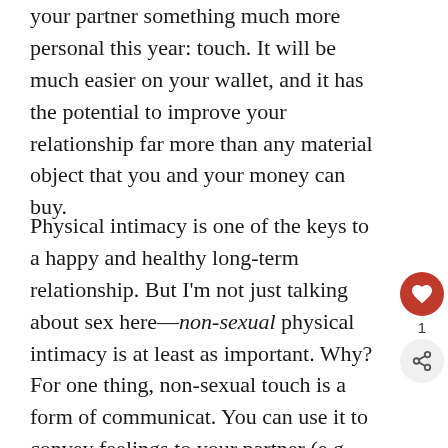your partner something much more personal this year: touch. It will be much easier on your wallet, and it has the potential to improve your relationship far more than any material object that you and your money can buy.
Physical intimacy is one of the keys to a happy and healthy long-term relationship. But I'm not just talking about sex here—non-sexual physical intimacy is at least as important. Why? For one thing, non-sexual touch is a form of communicat. You can use it to convey feelings to your partner (e.g., affection, comfort), as well as learn how your partner is feeling (e.g., tense, stressed). In addition